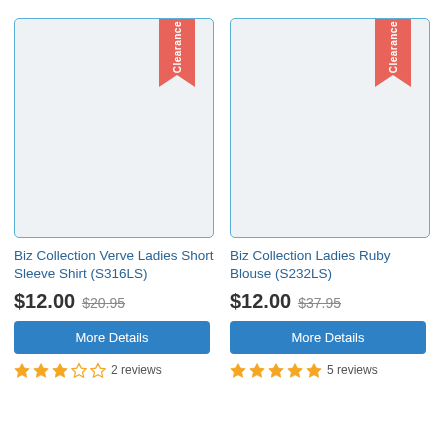[Figure (photo): Product image placeholder for Biz Collection Verve Ladies Short Sleeve Shirt with Clearance ribbon badge]
Biz Collection Verve Ladies Short Sleeve Shirt (S316LS)
$12.00  $20.95
More Details
2 reviews
[Figure (photo): Product image placeholder for Biz Collection Ladies Ruby Blouse with Clearance ribbon badge]
Biz Collection Ladies Ruby Blouse (S232LS)
$12.00  $37.95
More Details
5 reviews